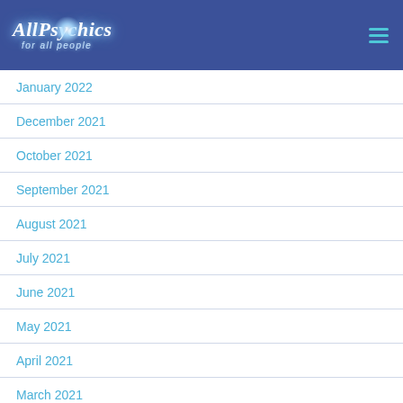AllPsychics for all people
January 2022
December 2021
October 2021
September 2021
August 2021
July 2021
June 2021
May 2021
April 2021
March 2021